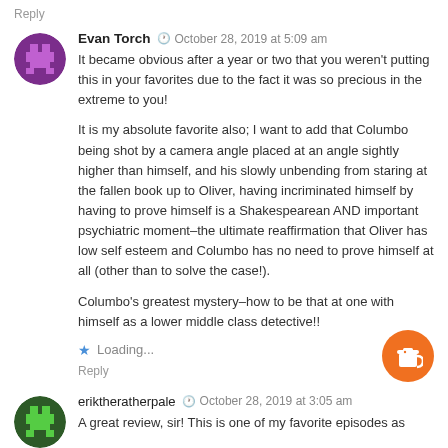Reply
Evan Torch  October 28, 2019 at 5:09 am
It became obvious after a year or two that you weren't putting this in your favorites due to the fact it was so precious in the extreme to you!
It is my absolute favorite also; I want to add that Columbo being shot by a camera angle placed at an angle sightly higher than himself, and his slowly unbending from staring at the fallen book up to Oliver, having incriminated himself by having to prove himself is a Shakespearean AND important psychiatric moment–the ultimate reaffirmation that Oliver has low self esteem and Columbo has no need to prove himself at all (other than to solve the case!).
Columbo's greatest mystery–how to be that at one with himself as a lower middle class detective!!
Loading...
Reply
eriktheratherpale  October 28, 2019 at 3:05 am
A great review, sir! This is one of my favorite episodes as